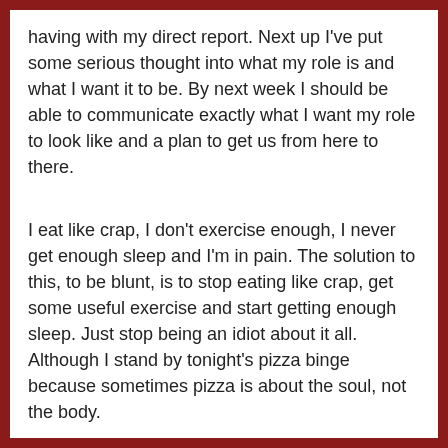having with my direct report. Next up I've put some serious thought into what my role is and what I want it to be. By next week I should be able to communicate exactly what I want my role to look like and a plan to get us from here to there.
I eat like crap, I don't exercise enough, I never get enough sleep and I'm in pain. The solution to this, to be blunt, is to stop eating like crap, get some useful exercise and start getting enough sleep. Just stop being an idiot about it all.  Although I stand by tonight's pizza binge because sometimes pizza is about the soul, not the body.
I'm on the verge of complete burnout and it finally occurred to me I have a problem. Some of it stems from the things above, but some of the above...